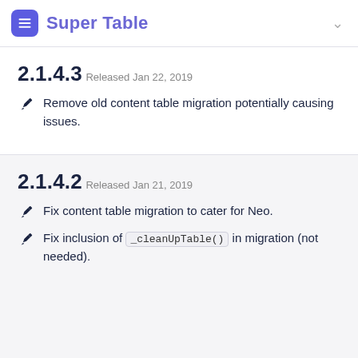Super Table
2.1.4.3
Released Jan 22, 2019
Remove old content table migration potentially causing issues.
2.1.4.2
Released Jan 21, 2019
Fix content table migration to cater for Neo.
Fix inclusion of _cleanUpTable() in migration (not needed).